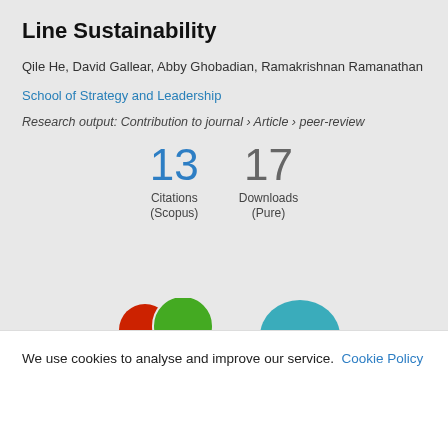Line Sustainability
Qile He, David Gallear, Abby Ghobadian, Ramakrishnan Ramanathan
School of Strategy and Leadership
Research output: Contribution to journal › Article › peer-review
13 Citations (Scopus)
17 Downloads (Pure)
[Figure (infographic): Two circular badge icons partially visible at bottom: red circle, green circle, and a teal/blue partial shape]
We use cookies to analyse and improve our service. Cookie Policy